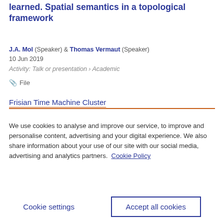learned. Spatial semantics in a topological framework
J.A. Mol (Speaker) & Thomas Vermaut (Speaker)
10 Jun 2019
Activity: Talk or presentation › Academic
📎 File
Frisian Time Machine Cluster
We use cookies to analyse and improve our service, to improve and personalise content, advertising and your digital experience. We also share information about your use of our site with our social media, advertising and analytics partners.  Cookie Policy
Cookie settings    Accept all cookies